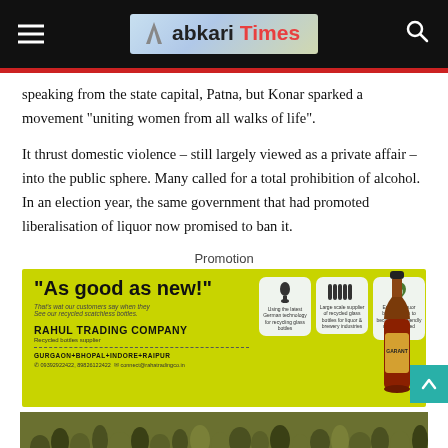Abkari Times
speaking from the state capital, Patna, but Konar sparked a movement “uniting women from all walks of life”.
It thrust domestic violence – still largely viewed as a private affair – into the public sphere. Many called for a total prohibition of alcohol. In an election year, the same government that had promoted liberalisation of liquor now promised to ban it.
Promotion
[Figure (illustration): Advertisement for Rahul Trading Company, recycled bottles supplier. Yellow-green background with headline 'As good as new!' Three icon boxes showing: Using the latest German technology for recycling glass bottles; Large scale supplier of recycled glass bottles for liquor & brewery industries; Enabling liquor bottling units to become eco-friendly using recycled bottles. Company name: RAHUL TRADING COMPANY. Cities: GURGAON+BHOPAL+INDORE+RAIPUR. Phone and email contact details. Brown beer bottle on right side.]
[Figure (photo): Crowd photo showing a gathering of people, partially visible at bottom of page.]